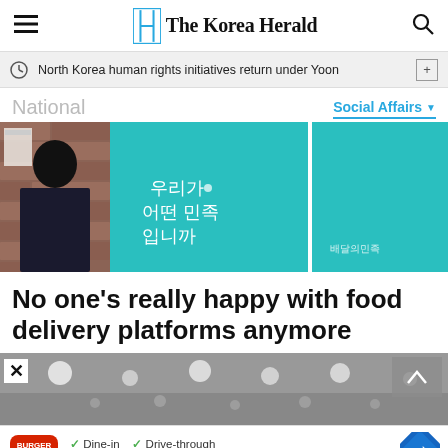The Korea Herald
North Korea human rights initiatives return under Yoon
National
Social Affairs
[Figure (photo): Person standing in front of teal/cyan banners with Korean text, against a brick wall background]
No one’s really happy with food delivery platforms anymore
[Figure (photo): Interior of a food court or restaurant space with ceiling lights]
Burger King ad: Dine-in, Drive-through, Delivery